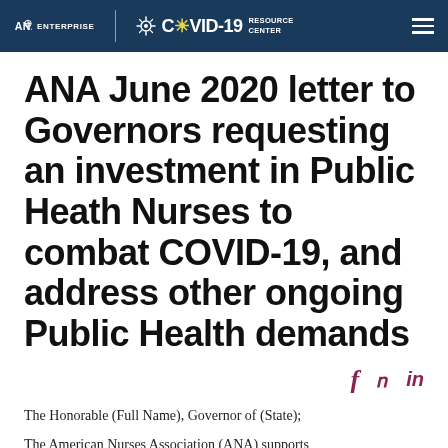ANA ENTERPRISE | COVID-19 RESOURCE CENTER
ANA June 2020 letter to Governors requesting an investment in Public Heath Nurses to combat COVID-19, and address other ongoing Public Health demands
The Honorable (Full Name), Governor of (State);
The American Nurses Association (ANA) supports